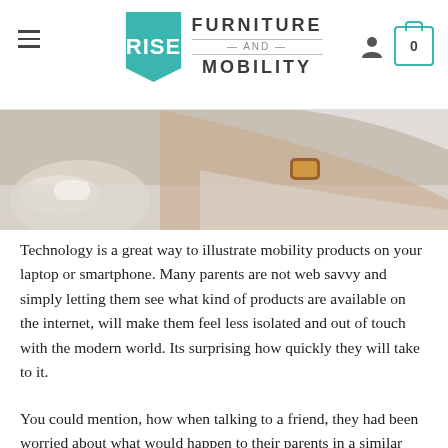RISE FURNITURE AND MOBILITY
[Figure (photo): Close-up photo of a person's arm/wrist with a watch, appearing to use a laptop or tablet at a table with a cup in the background.]
Technology is a great way to illustrate mobility products on your laptop or smartphone. Many parents are not web savvy and simply letting them see what kind of products are available on the internet, will make them feel less isolated and out of touch with the modern world. Its surprising how quickly they will take to it.
You could mention, how when talking to a friend, they had been worried about what would happen to their parents in a similar situation and this got you thinking about your own situation.
Accepting that you are getting older and no longer able to do the simplest of tasks is a hard thing to come to terms with for anyone. Be patient and show understanding. Your parents have